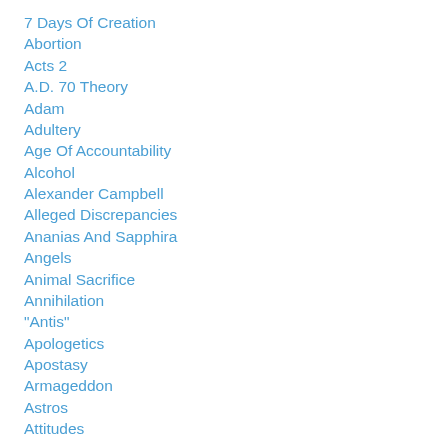7 Days Of Creation
Abortion
Acts 2
A.D. 70 Theory
Adam
Adultery
Age Of Accountability
Alcohol
Alexander Campbell
Alleged Discrepancies
Ananias And Sapphira
Angels
Animal Sacrifice
Annihilation
"Antis"
Apologetics
Apostasy
Armageddon
Astros
Attitudes